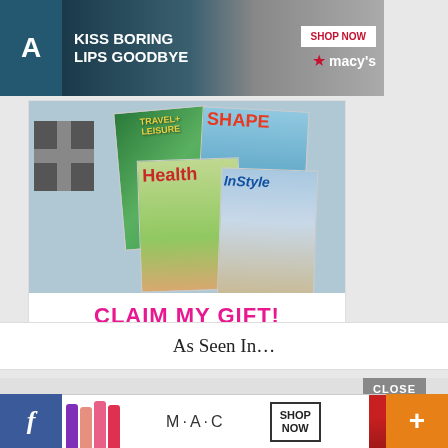[Figure (photo): Macy's advertisement banner: 'KISS BORING LIPS GOODBYE' with SHOP NOW button and Macy's star logo, featuring a woman with red lips]
[Figure (photo): Magazine subscription gift advertisement showing stacked magazine covers (Travel+Leisure, Shape, Health, InStyle) and a gift box, with 'CLAIM MY GIFT!' button in pink]
As Seen In…
[Figure (photo): MAC cosmetics advertisement with colorful lipsticks and SHOP NOW button]
[Figure (photo): CLOSE button overlay, Facebook button (blue, left), and orange plus button (right)]